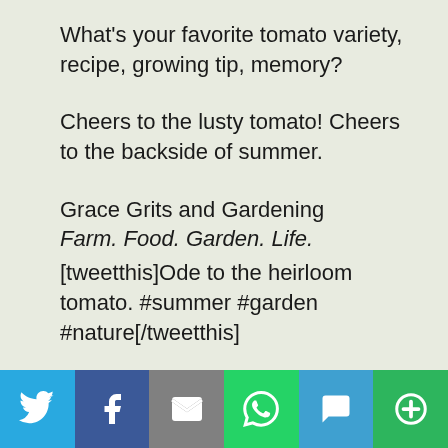What's your favorite tomato variety, recipe, growing tip, memory?
Cheers to the lusty tomato! Cheers to the backside of summer.
Grace Grits and Gardening
Farm. Food. Garden. Life.
[tweetthis]Ode to the heirloom tomato. #summer #garden #nature[/tweetthis]
Musical Pairing:
Heart, Crazy On You
[Figure (infographic): Social sharing bar with icons for Twitter (blue), Facebook (dark blue), Email (gray), WhatsApp (green), SMS (light blue), and More (green)]